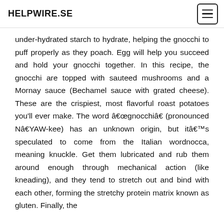HELPWIRE.SE
under-hydrated starch to hydrate, helping the gnocchi to puff properly as they poach. Egg will help you succeed and hold your gnocchi together. In this recipe, the gnocchi are topped with sauteed mushrooms and a Mornay sauce (Bechamel sauce with grated cheese). These are the crispiest, most flavorful roast potatoes you'll ever make. The word âgnocchiâ (pronounced NâYAW-kee) has an unknown origin, but itâs speculated to come from the Italian wordnocca, meaning knuckle. Get them lubricated and rub them around enough through mechanical action (like kneading), and they tend to stretch out and bind with each other, forming the stretchy protein matrix known as gluten. Finally, the